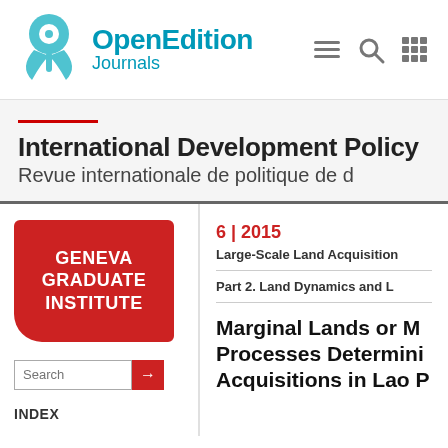[Figure (logo): OpenEdition Journals logo with teal plant/bird icon and teal text]
[Figure (infographic): Navigation icons: hamburger menu, search magnifier, grid]
International Development Policy
Revue internationale de politique de d
[Figure (logo): Geneva Graduate Institute red logo with rounded bottom-left corner]
Search
INDEX
6 | 2015
Large-Scale Land Acquisition
Part 2. Land Dynamics and L
Marginal Lands or M Processes Determini Acquisitions in Lao P